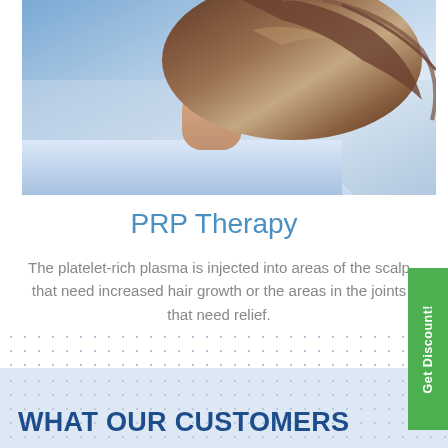[Figure (photo): Photo of a woman with flowing brown hair wearing a white/blue shirt, outdoor setting]
PRP Therapy
The platelet-rich plasma is injected into areas of the scalp that need increased hair growth or the areas in the joints that need relief.
WHAT OUR CUSTOMERS